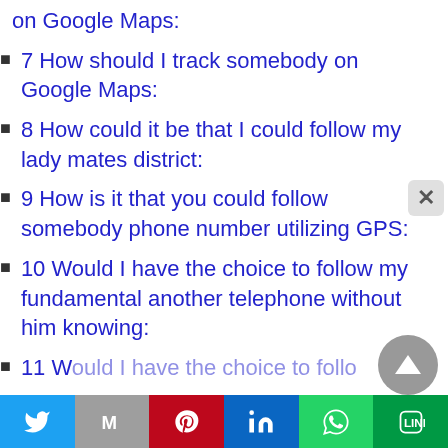on Google Maps:
7 How should I track somebody on Google Maps:
8 How could it be that I could follow my lady mates district:
9 How is it that you could follow somebody phone number utilizing GPS:
10 Would I have the choice to follow my fundamental another telephone without him knowing:
11 Would I have the choice to follo...